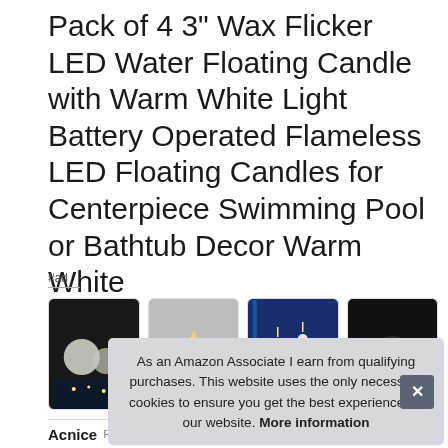Pack of 4 3" Wax Flicker LED Water Floating Candle with Warm White Light Battery Operated Flameless LED Floating Candles for Centerpiece Swimming Pool or Bathtub Decor Warm White
#ad
[Figure (photo): Four thumbnail images of floating LED candles in dark water/pool settings]
As an Amazon Associate I earn from qualifying purchases. This website uses the only necessary cookies to ensure you get the best experience on our website. More information
Acnice   Replace new batteries to use again and again.